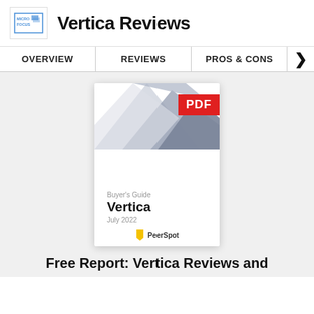Vertica Reviews
OVERVIEW | REVIEWS | PROS & CONS
[Figure (screenshot): PDF cover of Buyer's Guide for Vertica, July 2022, published by PeerSpot, with abstract geometric shapes at top and a red PDF badge overlay.]
Free Report: Vertica Reviews and